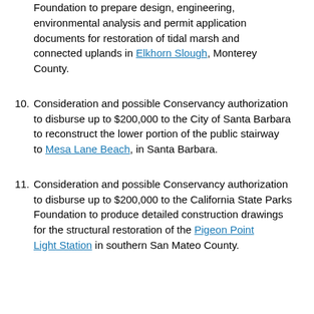Foundation to prepare design, engineering, environmental analysis and permit application documents for restoration of tidal marsh and connected uplands in Elkhorn Slough, Monterey County.
10. Consideration and possible Conservancy authorization to disburse up to $200,000 to the City of Santa Barbara to reconstruct the lower portion of the public stairway to Mesa Lane Beach, in Santa Barbara.
11. Consideration and possible Conservancy authorization to disburse up to $200,000 to the California State Parks Foundation to produce detailed construction drawings for the structural restoration of the Pigeon Point Light Station in southern San Mateo County.